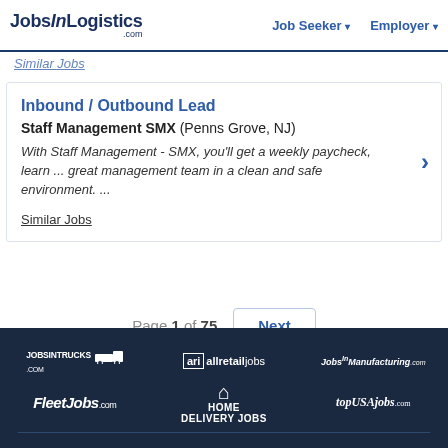JobsInLogistics.com | Job Seeker | Employer
Similar Jobs
Inbound / Outbound Lead
Staff Management SMX (Penns Grove, NJ)
With Staff Management - SMX, you'll get a weekly paycheck, learn ... great management team in a clean and safe environment. ...
Similar Jobs
Page 1 of 75
Next
JOBSINTRUCKS.com | allretailjobs | JobsInManufacturing.com | FleetJobs.com | HOME DELIVERY JOBS | topUSAjobs.com